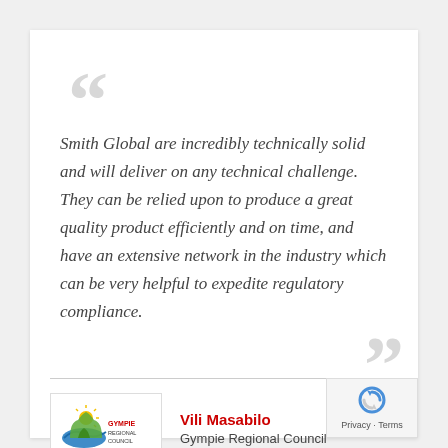Smith Global are incredibly technically solid and will deliver on any technical challenge. They can be relied upon to produce a great quality product efficiently and on time, and have an extensive network in the industry which can be very helpful to expedite regulatory compliance.
[Figure (logo): Gympie Regional Council logo with stylized blue wave, yellow sun, and green grass/tree shapes with text 'GYMPIE REGIONAL COUNCIL']
Vili Masabilo
Gympie Regional Council